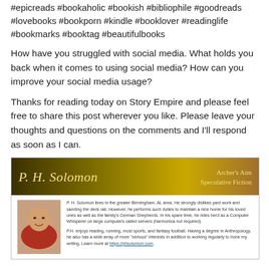#epicreads #bookaholic #bookish #bibliophile #goodreads #lovebooks #bookporn #kindle #booklover #readinglife #bookmarks #booktag #beautifulbooks
How have you struggled with social media. What holds you back when it comes to using social media? How can you improve your social media usage?
Thanks for reading today on Story Empire and please feel free to share this post wherever you like. Please leave your thoughts and questions on the comments and I'll respond as soon as I can.
[Figure (infographic): P. H. Solomon Archer's Aim Speculative Fiction banner with author photo and biography text.]